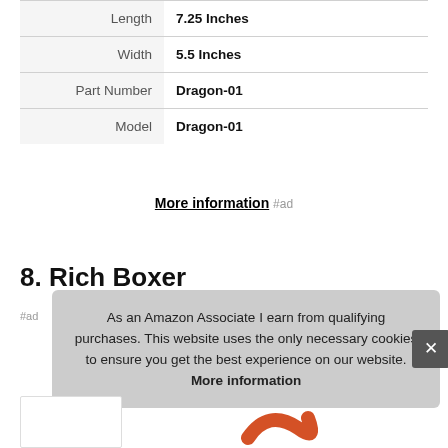| Length | 7.25 Inches |
| Width | 5.5 Inches |
| Part Number | Dragon-01 |
| Model | Dragon-01 |
More information #ad
8. Rich Boxer
#ad
As an Amazon Associate I earn from qualifying purchases. This website uses the only necessary cookies to ensure you get the best experience on our website. More information